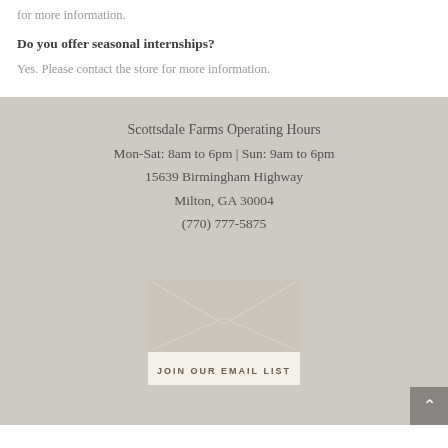for more information.
Do you offer seasonal internships?
Yes. Please contact the store for more information.
Scottsdale Farms Operating Hours
Mon-Sat: 8am to 6pm | Sun: 9am to 6pm
15639 Birmingham Highway
Milton, GA 30004
(770) 777-5875
[Figure (illustration): Envelope graphic with linen texture and fold lines, used as decorative element for email list signup]
JOIN OUR EMAIL LIST